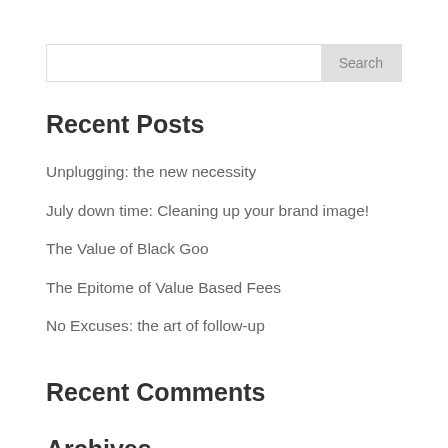[Figure (other): Search input bar with a 'Search' button on the right]
Recent Posts
Unplugging: the new necessity
July down time: Cleaning up your brand image!
The Value of Black Goo
The Epitome of Value Based Fees
No Excuses: the art of follow-up
Recent Comments
Archives